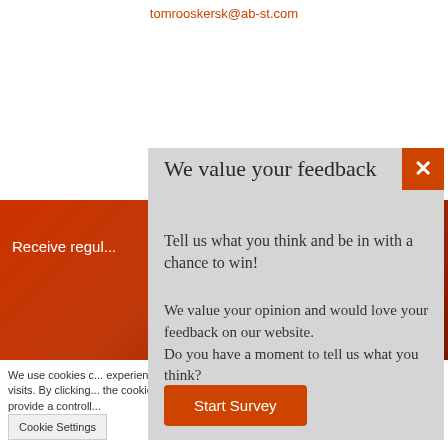tomrooskersk@ab-st.com
Receive regu...
We use cookies c... experience by re... visits. By clicking... the cookies. How... provide a controll...
[Figure (screenshot): Feedback modal dialog with title 'We value your feedback', subtitle 'Tell us what you think and be in with a chance to win!', body text 'We value your opinion and would love your feedback on our website. Do you have a moment to tell us what you think?', and a 'Start Survey' orange button. Close button (X) in top-right corner.]
Cookie Settings